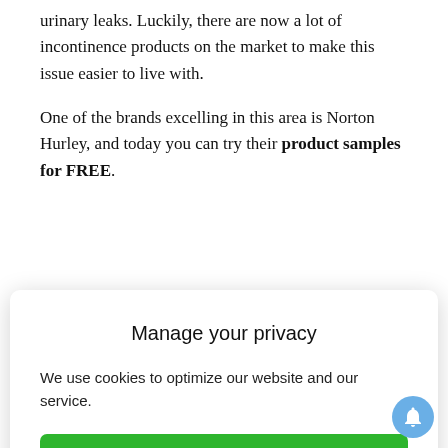urinary leaks. Luckily, there are now a lot of incontinence products on the market to make this issue easier to live with.
One of the brands excelling in this area is Norton Hurley, and today you can try their product samples for FREE.
Manage your privacy
We use cookies to optimize our website and our service.
Accept
Do Not Sell My Personal Information   Privacy Statement
discreetly, then you have come to the right place. To make it happen, just follow the simple guide detailed below.
The first step would obviously to click on the “Get this free sample” button at the bottom of this page to be automatically redirected to the official website of Norton Hurley, on the sampling campaign